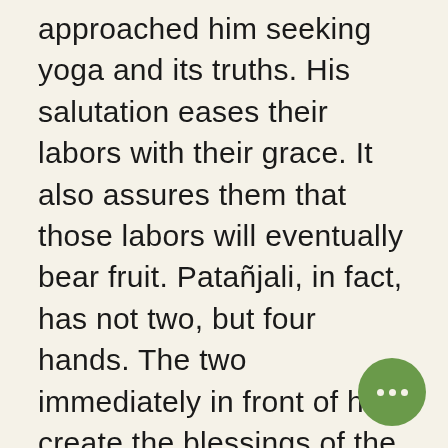approached him seeking yoga and its truths. His salutation eases their labors with their grace. It also assures them that those labors will eventually bear fruit. Patañjali, in fact, has not two, but four hands. The two immediately in front of him create the blessings of the añjali while the other two are raised. One of the uplifted hands holds sankha, the conch that embodies the energy of sound. It both calls students to practi… and announces the imminent…